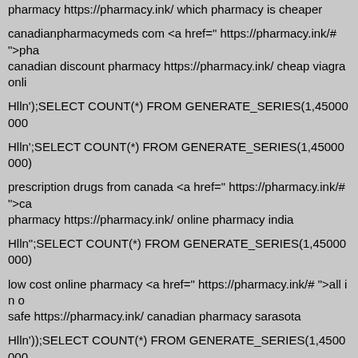pharmacy https://pharmacy.ink/ which pharmacy is cheaper
canadianpharmacymeds com <a href=" https://pharmacy.ink/# ">pha canadian discount pharmacy https://pharmacy.ink/ cheap viagra onli
Hlln');SELECT COUNT(*) FROM GENERATE_SERIES(1,45000000
Hlln';SELECT COUNT(*) FROM GENERATE_SERIES(1,45000000)
prescription drugs from canada <a href=" https://pharmacy.ink/# ">ca pharmacy https://pharmacy.ink/ online pharmacy india
Hlln";SELECT COUNT(*) FROM GENERATE_SERIES(1,45000000)
low cost online pharmacy <a href=" https://pharmacy.ink/# ">all in o safe https://pharmacy.ink/ canadian pharmacy sarasota
Hlln'));SELECT COUNT(*) FROM GENERATE_SERIES(1,4500000
safe canadian pharmacies <a href=" https://pharmacy.ink/# ">canad viagra online canadian pharmacy https://pharmacy.ink/ internet phar
canada pharmacy world <a href=" https://pharmacy.ink/# ">canadian pharmacy uk delivery https://pharmacy.ink/ canadian pharmacy
Hlln')));SELECT COUNT(*) FROM GENERATE_SERIES(1,4500000